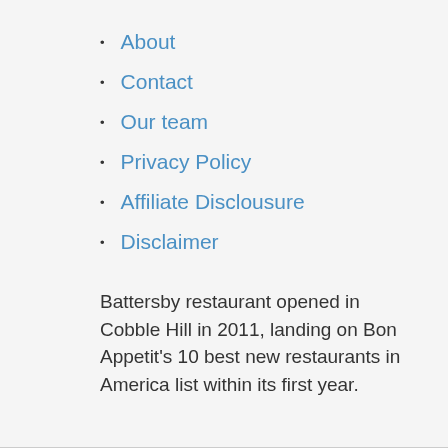About
Contact
Our team
Privacy Policy
Affiliate Disclousure
Disclaimer
Battersby restaurant opened in Cobble Hill in 2011, landing on Bon Appetit's 10 best new restaurants in America list within its first year.